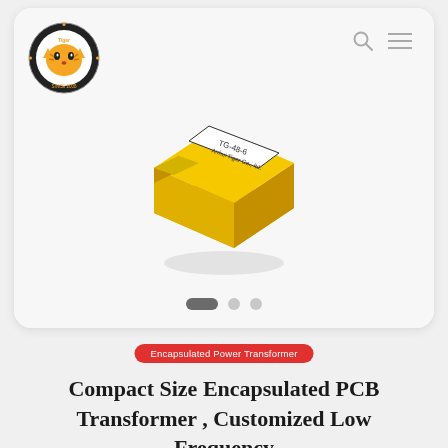[Figure (photo): Yellow encapsulated PCB transformer (model TG-48-6, Anhui Tiger Co., Ltd.) shown at an angle on a white/light gray background inside a rounded white card slider. The transformer is a compact square yellow block with a white label on top.]
Encapsulated Power Transformer
Compact Size Encapsulated PCB Transformer , Customized Low Frequency Transformer